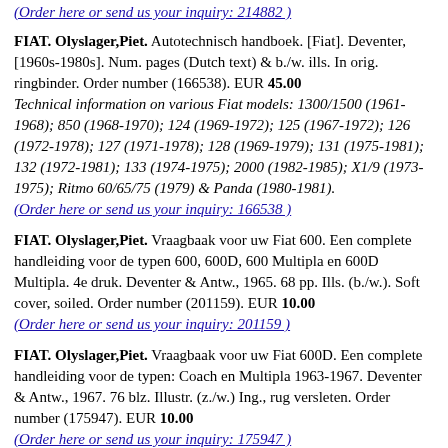(Order here or send us your inquiry: 214882)
FIAT. Olyslager,Piet. Autotechnisch handboek. [Fiat]. Deventer, [1960s-1980s]. Num. pages (Dutch text) & b./w. ills. In orig. ringbinder. Order number (166538). EUR 45.00
Technical information on various Fiat models: 1300/1500 (1961-1968); 850 (1968-1970); 124 (1969-1972); 125 (1967-1972); 126 (1972-1978); 127 (1971-1978); 128 (1969-1979); 131 (1975-1981); 132 (1972-1981); 133 (1974-1975); 2000 (1982-1985); X1/9 (1973-1975); Ritmo 60/65/75 (1979) & Panda (1980-1981).
(Order here or send us your inquiry: 166538)
FIAT. Olyslager,Piet. Vraagbaak voor uw Fiat 600. Een complete handleiding voor de typen 600, 600D, 600 Multipla en 600D Multipla. 4e druk. Deventer & Antw., 1965. 68 pp. Ills. (b./w.). Soft cover, soiled. Order number (201159). EUR 10.00
(Order here or send us your inquiry: 201159)
FIAT. Olyslager,Piet. Vraagbaak voor uw Fiat 600D. Een complete handleiding voor de typen: Coach en Multipla 1963-1967. Deventer & Antw., 1967. 76 blz. Illustr. (z./w.) Ing., rug versleten. Order number (175947). EUR 10.00
(Order here or send us your inquiry: 175947)
FIAT. Olyslager,Piet. Vraagbaak voor uw Fiat 600D. Een complete handleiding voor de typen: Coach en Multipla 1963-